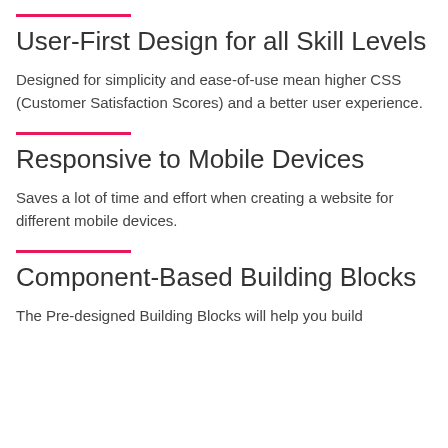User-First Design for all Skill Levels
Designed for simplicity and ease-of-use mean higher CSS (Customer Satisfaction Scores) and a better user experience.
Responsive to Mobile Devices
Saves a lot of time and effort when creating a website for different mobile devices.
Component-Based Building Blocks
The Pre-designed Building Blocks will help you build